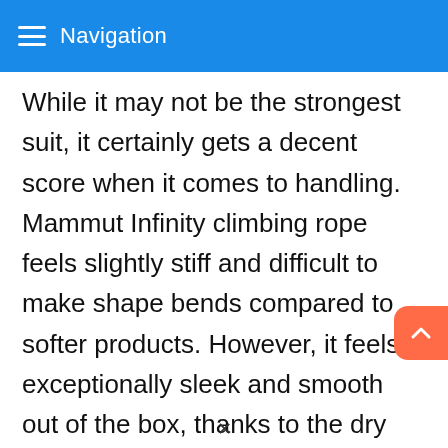Navigation
While it may not be the strongest suit, it certainly gets a decent score when it comes to handling. Mammut Infinity climbing rope feels slightly stiff and difficult to make shape bends compared to softer products. However, it feels exceptionally sleek and smooth out of the box, thanks to the dry coating. Although it fades out after a while, the tight weave remains for a long time to deliver excellent handling.